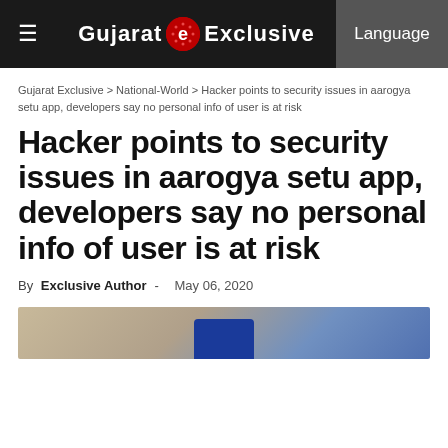Gujarat Exclusive  Language
Gujarat Exclusive > National-World > Hacker points to security issues in aarogya setu app, developers say no personal info of user is at risk
Hacker points to security issues in aarogya setu app, developers say no personal info of user is at risk
By Exclusive Author - May 06, 2020
[Figure (photo): Partial photo of a smartphone showing a blue app interface, on a tan/beige background]